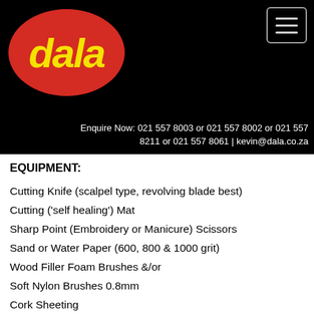[Figure (logo): Dala logo: red oval with yellow 'dala' script text]
Enquire Now: 021 557 8003 or 021 557 8002 or 021 557 8211 or 021 557 8061 | kevin@dala.co.za
EQUIPMENT:
Cutting Knife (scalpel type, revolving blade best)
Cutting ('self healing') Mat
Sharp Point (Embroidery or Manicure) Scissors
Sand or Water Paper (600, 800 & 1000 grit)
Wood Filler Foam Brushes &/or
Soft Nylon Brushes 0.8mm
Cork Sheeting
Dala Craft or School Glue (to attach cork to items)
Dala Craft Paint (white for base coat, & selected colour to complement or contrast the cut out images)